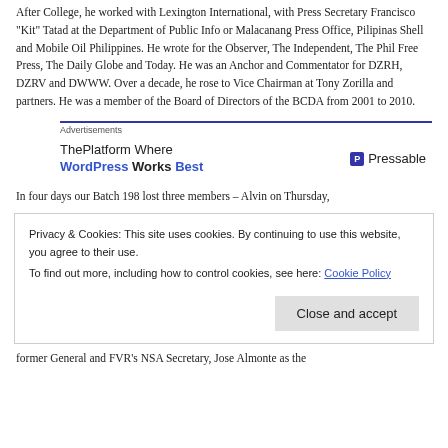After College, he worked with Lexington International, with Press Secretary Francisco “Kit” Tatad at the Department of Public Info or Malacanang Press Office, Pilipinas Shell and Mobile Oil Philippines. He wrote for the Observer, The Independent, The Phil Free Press, The Daily Globe and Today. He was an Anchor and Commentator for DZRH, DZRV and DWWW. Over a decade, he rose to Vice Chairman at Tony Zorilla and partners. He was a member of the Board of Directors of the BCDA from 2001 to 2010.
[Figure (other): Advertisement banner: ThePlatform Where WordPress Works Best | Pressable]
In four days our Batch 198 lost three members – Alvin on Thursday,
Privacy & Cookies: This site uses cookies. By continuing to use this website, you agree to their use.
To find out more, including how to control cookies, see here: Cookie Policy
[Close and accept button]
former General and FVR’s NSA Secretary, Jose Almonte as the